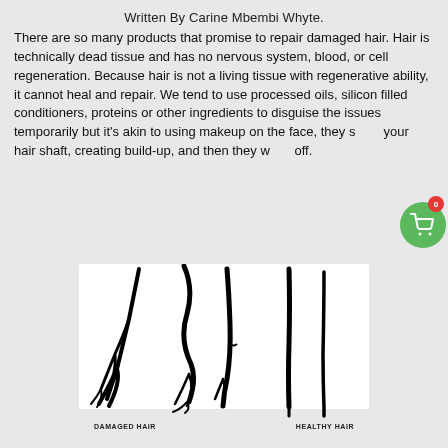Written By Carine Mbembi Whyte.
There are so many products that promise to repair damaged hair. Hair is technically dead tissue and has no nervous system, blood, or cell regeneration. Because hair is not a living tissue with regenerative ability, it cannot heal and repair. We tend to use processed oils, silicon filled conditioners, proteins or other ingredients to disguise the issues temporarily but it's akin to using makeup on the face, they sit on your hair shaft, creating build-up, and then they wash off.
[Figure (illustration): Illustration showing damaged hair strands on the left (frayed, split ends, rough texture) and healthy hair strands on the right (smooth, straight), with labels 'DAMAGED HAIR' and 'HEALTHY HAIR' below.]